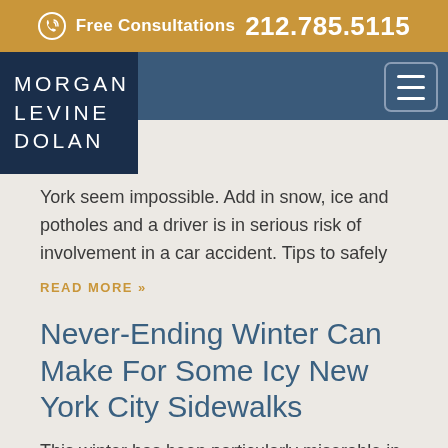Free Consultations 212.785.5115
[Figure (logo): Morgan Levine Dolan law firm logo — white text on dark navy background]
York seem impossible. Add in snow, ice and potholes and a driver is in serious risk of involvement in a car accident. Tips to safely
READ MORE »
Never-Ending Winter Can Make For Some Icy New York City Sidewalks
This winter has been particularly miserable in New York, especially since multiple run-ins with